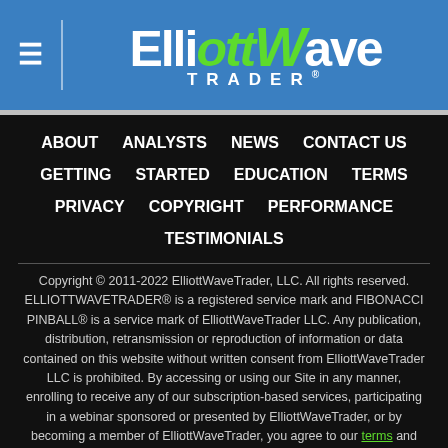ElliottWave TRADER®
ABOUT
ANALYSTS
NEWS
CONTACT US
GETTING STARTED
EDUCATION
TERMS
PRIVACY
COPYRIGHT
PERFORMANCE
TESTIMONIALS
Copyright © 2011-2022 ElliottWaveTrader, LLC. All rights reserved. ELLIOTTWAVETRADER® is a registered service mark and FIBONACCI PINBALL® is a service mark of ElliottWaveTrader LLC. Any publication, distribution, retransmission or reproduction of information or data contained on this website without written consent from ElliottWaveTrader LLC is prohibited. By accessing or using our Site in any manner, enrolling to receive any of our subscription-based services, participating in a webinar sponsored or presented by ElliottWaveTrader, or by becoming a member of ElliottWaveTrader, you agree to our terms and privacy policy